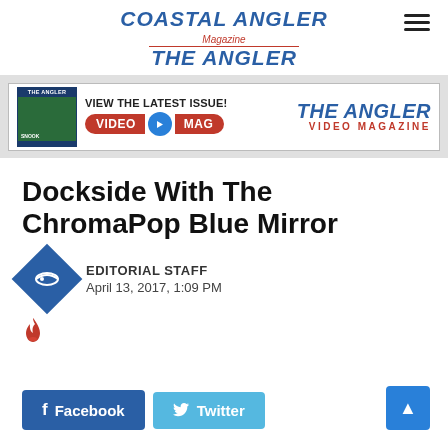COASTAL ANGLER Magazine THE ANGLER
[Figure (advertisement): The Angler Video Magazine banner ad with thumbnail, VIDEO MAG buttons, and logo]
Dockside With The ChromaPop Blue Mirror
EDITORIAL STAFF
April 13, 2017, 1:09 PM